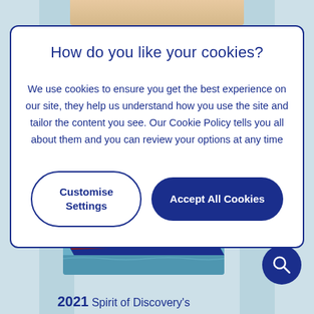[Figure (screenshot): Top partial image strip showing a sandy/golden colored surface, partially visible at top of page]
How do you like your cookies?
We use cookies to ensure you get the best experience on our site, they help us understand how you use the site and tailor the content you see. Our Cookie Policy tells you all about them and you can review your options at any time
Customise Settings
Accept All Cookies
[Figure (photo): Photograph of a large cruise ship (Spirit of Discovery) with dark blue hull and yellow funnels, sailing on blue water]
2021 Spirit of Discovery's